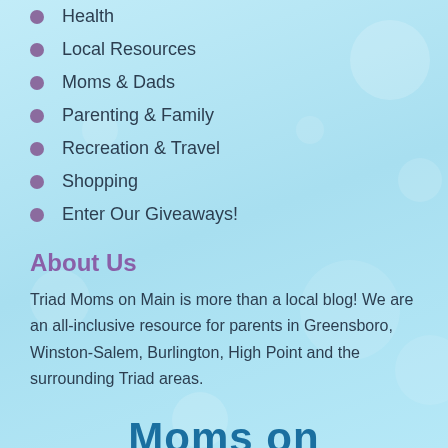Health
Local Resources
Moms & Dads
Parenting & Family
Recreation & Travel
Shopping
Enter Our Giveaways!
About Us
Triad Moms on Main is more than a local blog! We are an all-inclusive resource for parents in Greensboro, Winston-Salem, Burlington, High Point and the surrounding Triad areas.
[Figure (logo): Partial logo text reading 'Moms on' in dark teal bold font at bottom of page]